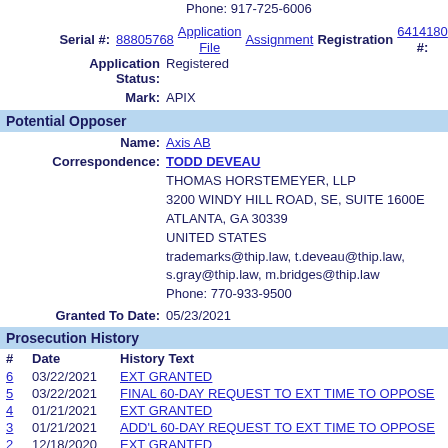Phone: 917-725-6006
Serial #: 88805768 Application File Assignment Registration #: 6414180
Application Status: Registered
Mark: APIX
Potential Opposer
Name: Axis AB
Correspondence: TODD DEVEAU
THOMAS HORSTEMEYER, LLP
3200 WINDY HILL ROAD, SE, SUITE 1600E
ATLANTA, GA 30339
UNITED STATES
trademarks@thip.law, t.deveau@thip.law,
s.gray@thip.law, m.bridges@thip.law
Phone: 770-933-9500
Granted To Date: 05/23/2021
Prosecution History
| # | Date | History Text |
| --- | --- | --- |
| 6 | 03/22/2021 | EXT GRANTED |
| 5 | 03/22/2021 | FINAL 60-DAY REQUEST TO EXT TIME TO OPPOSE |
| 4 | 01/21/2021 | EXT GRANTED |
| 3 | 01/21/2021 | ADD'L 60-DAY REQUEST TO EXT TIME TO OPPOSE |
| 2 | 12/18/2020 | EXT GRANTED |